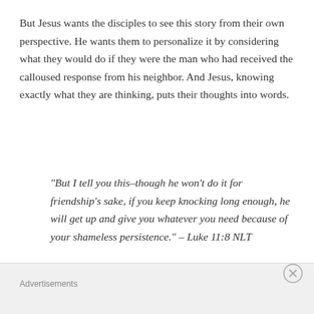But Jesus wants the disciples to see this story from their own perspective. He wants them to personalize it by considering what they would do if they were the man who had received the calloused response from his neighbor. And Jesus, knowing exactly what they are thinking, puts their thoughts into words.
“But I tell you this–though he won’t do it for friendship’s sake, if you keep knocking long enough, he will get up and give you whatever you need because of your shameless persistence.” – Luke 11:8 NLT
At least one of the disciples is thinking, “I would keep
Advertisements